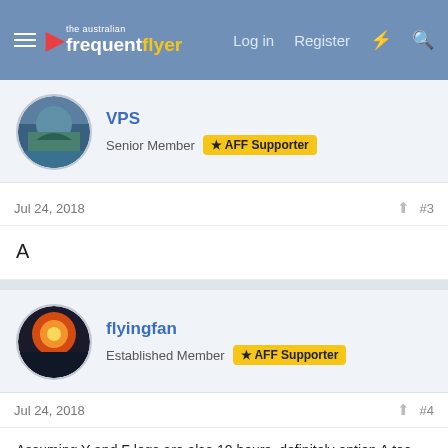the australian frequentflyer | Log in | Register
VPS
Senior Member  AFF Supporter
Jul 24, 2018  #3
A
flyingfan
Established Member  AFF Supporter
Jul 24, 2018  #4
Assuming Y and F legs are also 10 hours, definitely option A too.
I haven't actually flown Emirates Y but I would not hesitate to go with A. I haven't experienced an airline yet where the difference between J -> F makes it so much better than the massive